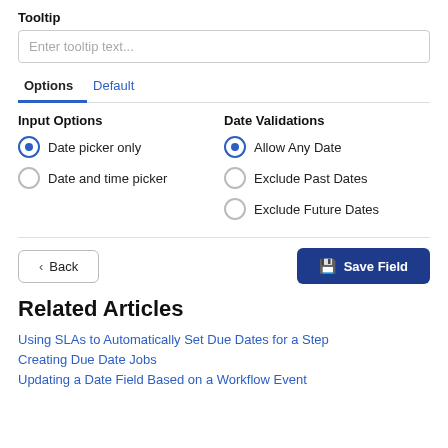Tooltip
Enter tooltip text...
Options	Default
Input Options
Date picker only
Date and time picker
Date Validations
Allow Any Date
Exclude Past Dates
Exclude Future Dates
Back
Save Field
Related Articles
Using SLAs to Automatically Set Due Dates for a Step
Creating Due Date Jobs
Updating a Date Field Based on a Workflow Event